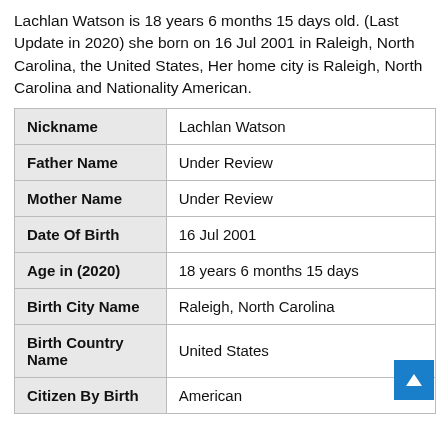Lachlan Watson is 18 years 6 months 15 days old. (Last Update in 2020) she born on 16 Jul 2001 in Raleigh, North Carolina, the United States, Her home city is Raleigh, North Carolina and Nationality American.
|  |  |
| --- | --- |
| Nickname | Lachlan Watson |
| Father Name | Under Review |
| Mother Name | Under Review |
| Date Of Birth | 16 Jul 2001 |
| Age in (2020) | 18 years 6 months 15 days |
| Birth City Name | Raleigh, North Carolina |
| Birth Country Name | United States |
| Citizen By Birth | American |